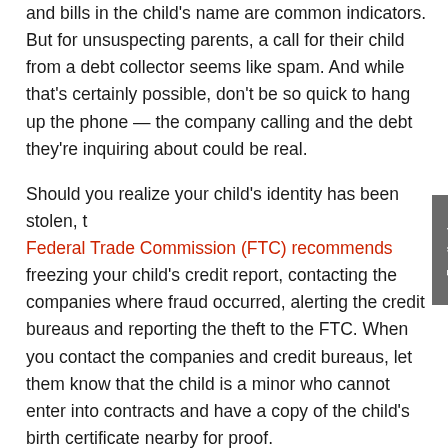and bills in the child's name are common indicators. But for unsuspecting parents, a call for their child from a debt collector seems like spam. And while that's certainly possible, don't be so quick to hang up the phone — the company calling and the debt they're inquiring about could be real.
Should you realize your child's identity has been stolen, the Federal Trade Commission (FTC) recommends freezing your child's credit report, contacting the companies where fraud occurred, alerting the credit bureaus and reporting the theft to the FTC. When you contact the companies and credit bureaus, let them know that the child is a minor who cannot enter into contracts and have a copy of the child's birth certificate nearby for proof.
Children aren't the only young population in need of identity